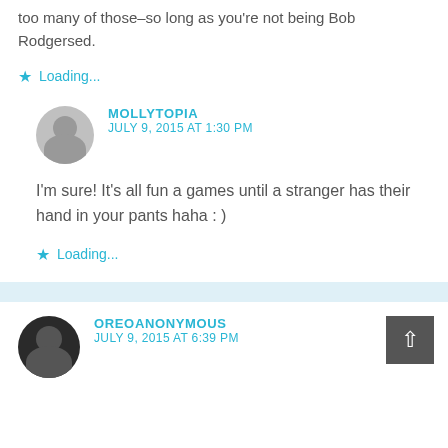too many of those–so long as you're not being Bob Rodgersed.
Loading...
MOLLYTOPIA
JULY 9, 2015 AT 1:30 PM
I'm sure! It's all fun a games until a stranger has their hand in your pants haha : )
Loading...
OREOANONYMOUS
JULY 9, 2015 AT 6:39 PM